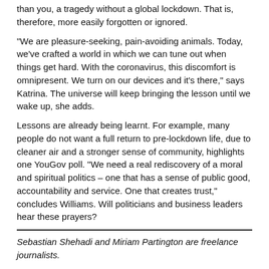than you, a tragedy without a global lockdown. That is, therefore, more easily forgotten or ignored.
“We are pleasure-seeking, pain-avoiding animals. Today, we’ve crafted a world in which we can tune out when things get hard. With the coronavirus, this discomfort is omnipresent. We turn on our devices and it’s there,” says Katrina. The universe will keep bringing the lesson until we wake up, she adds.
Lessons are already being learnt. For example, many people do not want a full return to pre-lockdown life, due to cleaner air and a stronger sense of community, highlights one YouGov poll. “We need a real rediscovery of a moral and spiritual politics – one that has a sense of public good, accountability and service. One that creates trust,” concludes Williams. Will politicians and business leaders hear these prayers?
Sebastian Shehadi and Miriam Partington are freelance journalists.
This article was originally published on 27 April 2020 in NewStatesman, a British political and cultural magazine published in London.  See:
https://www.newstatesman.com/politics/religion/2020/04/how-coronavirus-leading-religious-revival?